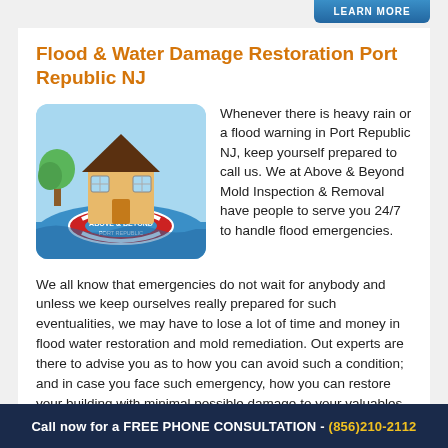LEARN MORE
Flood & Water Damage Restoration Port Republic NJ
[Figure (illustration): Illustration of a house floating on flood water on a red life preserver ring, with 'Above & Beyond' text on the ring, blue sky and green tree in background.]
Whenever there is heavy rain or a flood warning in Port Republic NJ, keep yourself prepared to call us. We at Above & Beyond Mold Inspection & Removal have people to serve you 24/7 to handle flood emergencies.
We all know that emergencies do not wait for anybody and unless we keep ourselves really prepared for such eventualities, we may have to lose a lot of time and money in flood water restoration and mold remediation. Out experts are there to advise you as to how you can avoid such a condition; and in case you face such emergency, how you can restore your building with minimal possible damage to your valuables.
Call now for a FREE PHONE CONSULTATION - (856)210-2112